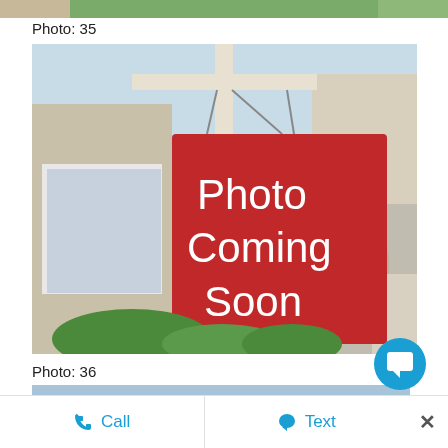[Figure (photo): Partial view of house exterior with greenery at top of page]
Photo: 35
[Figure (photo): Real estate sign showing 'Photo Coming Soon' in white text on red background, hanging from a white post in front of a two-story house with brick arches]
Photo: 36
[Figure (photo): Partial view of house exterior with blue sky, showing roof and siding]
Call   Text